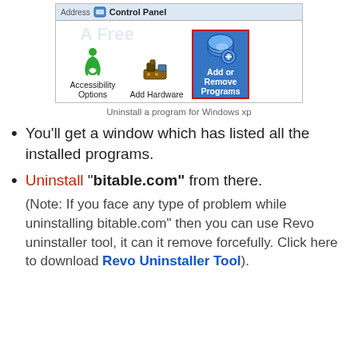[Figure (screenshot): Windows XP Control Panel screenshot showing Address bar with 'Control Panel' text, and icons for Accessibility Options, Add Hardware, and Add or Remove Programs (highlighted with red border)]
Uninstall a program for Windows xp
You'll get a window which has listed all the installed programs.
Uninstall "bitable.com" from there. (Note: If you face any type of problem while uninstalling bitable.com" then you can use Revo uninstaller tool, it can it remove forcefully. Click here to download Revo Uninstaller Tool).